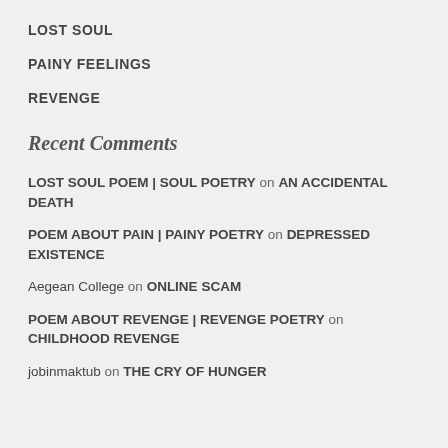LOST SOUL
PAINY FEELINGS
REVENGE
Recent Comments
LOST SOUL POEM | SOUL POETRY on AN ACCIDENTAL DEATH
POEM ABOUT PAIN | PAINY POETRY on DEPRESSED EXISTENCE
Aegean College on ONLINE SCAM
POEM ABOUT REVENGE | REVENGE POETRY on CHILDHOOD REVENGE
jobinmaktub on THE CRY OF HUNGER